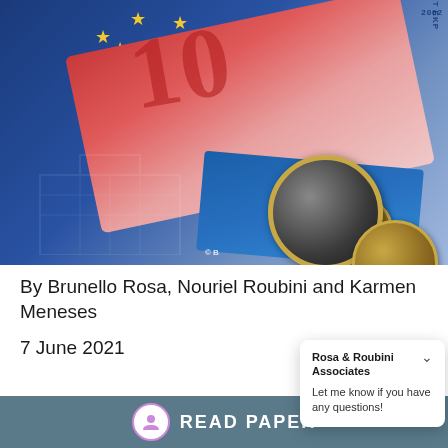[Figure (photo): Euro banknotes and coins with EU flag background. Shows a €10 red banknote, blue euro note, and several euro coins (1 euro and 20 cent denominations) on a blue EU flag background.]
By Brunello Rosa, Nouriel Roubini and Karmen Meneses
7 June 2021
Rosa & Roubini Associates
Let me know if you have any questions!
READ PAPER